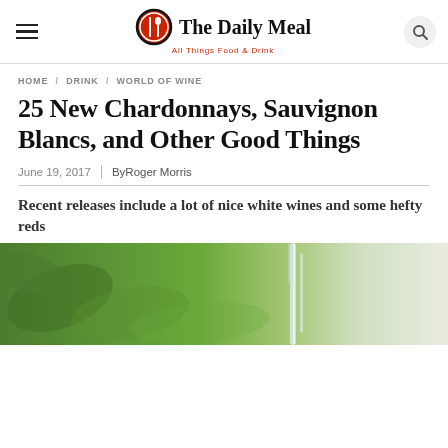The Daily Meal — All Things Food & Drink
HOME / DRINK / WORLD OF WINE
25 New Chardonnays, Sauvignon Blancs, and Other Good Things
June 19, 2017 | By Roger Morris
Recent releases include a lot of nice white wines and some hefty reds
[Figure (photo): Hero image showing white wine being poured, with green foliage background]